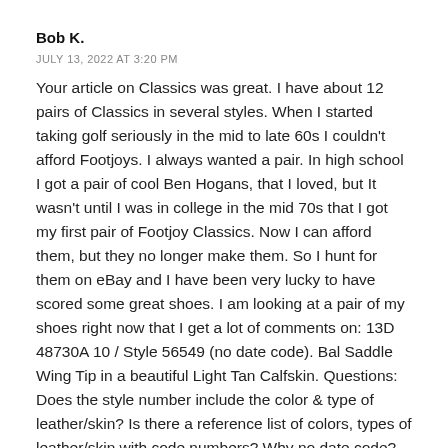Bob K.
JULY 13, 2022 AT 3:20 PM
Your article on Classics was great. I have about 12 pairs of Classics in several styles. When I started taking golf seriously in the mid to late 60s I couldn’t afford Footjoys. I always wanted a pair. In high school I got a pair of cool Ben Hogans, that I loved, but It wasn’t until I was in college in the mid 70s that I got my first pair of Footjoy Classics. Now I can afford them, but they no longer make them. So I hunt for them on eBay and I have been very lucky to have scored some great shoes. I am looking at a pair of my shoes right now that I get a lot of comments on: 13D 48730A 10 / Style 56549 (no date code). Bal Saddle Wing Tip in a beautiful Light Tan Calfskin. Questions: Does the style number include the color & type of leather/skin? Is there a reference list of colors, types of leather/skin with code numbers? Why no date code? Foot-joy is hyphenated. People ask me what color the shoes are and I